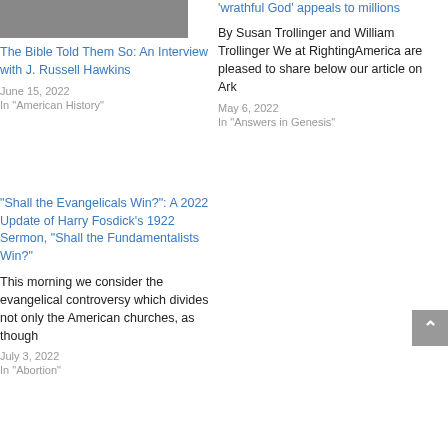[Figure (photo): Black and white photograph of two people]
The Bible Told Them So: An Interview with J. Russell Hawkins
June 15, 2022
In "American History"
'wrathful God' appeals to millions
By Susan Trollinger and William Trollinger We at RightingAmerica are pleased to share below our article on Ark
May 6, 2022
In "Answers in Genesis"
“Shall the Evangelicals Win?”: A 2022 Update of Harry Fosdick’s 1922 Sermon, “Shall the Fundamentalists Win?”
This morning we consider the evangelical controversy which divides not only the American churches, as though
July 3, 2022
In "Abortion"